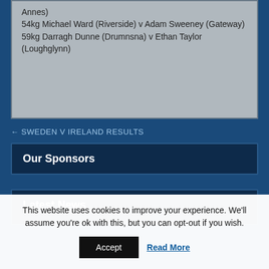Annes) 54kg Michael Ward (Riverside) v Adam Sweeney (Gateway) 59kg Darragh Dunne (Drumnsna) v Ethan Taylor (Loughglynn)
← SWEDEN V IRELAND RESULTS
Our Sponsors
Latest News
This website uses cookies to improve your experience. We'll assume you're ok with this, but you can opt-out if you wish.